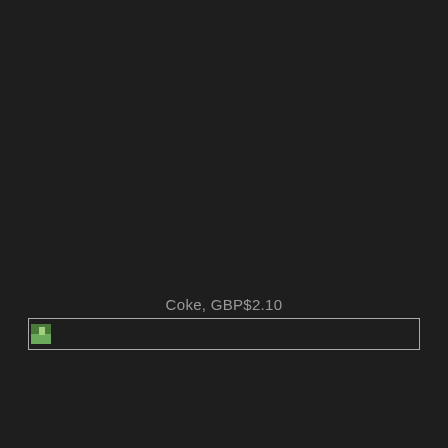Coke, GBP$2.10
[Figure (photo): Broken image placeholder inside a bordered rectangle, partially showing a small colored icon in the top-left corner]